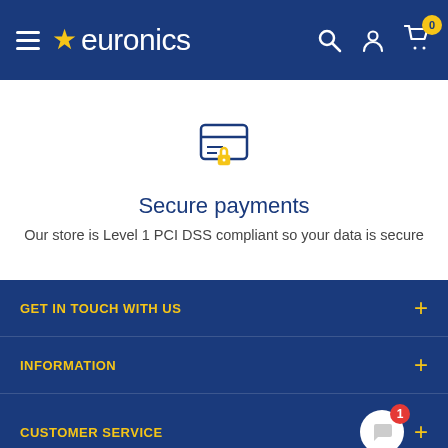euronics
[Figure (illustration): Secure payments icon: a card with horizontal lines and a padlock below it, rendered in blue and yellow]
Secure payments
Our store is Level 1 PCI DSS compliant so your data is secure
GET IN TOUCH WITH US
INFORMATION
CUSTOMER SERVICE
GET THE NEWS, IN YOUR INBOX